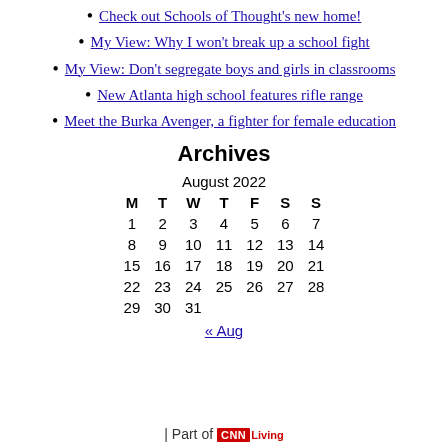Check out Schools of Thought's new home!
My View: Why I won't break up a school fight
My View: Don't segregate boys and girls in classrooms
New Atlanta high school features rifle range
Meet the Burka Avenger, a fighter for female education
Archives
| M | T | W | T | F | S | S |
| --- | --- | --- | --- | --- | --- | --- |
| 1 | 2 | 3 | 4 | 5 | 6 | 7 |
| 8 | 9 | 10 | 11 | 12 | 13 | 14 |
| 15 | 16 | 17 | 18 | 19 | 20 | 21 |
| 22 | 23 | 24 | 25 | 26 | 27 | 28 |
| 29 | 30 | 31 |  |  |  |  |
« Aug
| Part of CNN Living